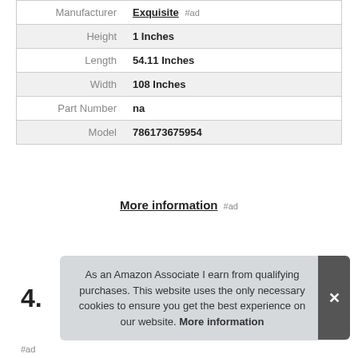| Label | Value |
| --- | --- |
| Manufacturer | Exquisite #ad |
| Height | 1 Inches |
| Length | 54.11 Inches |
| Width | 108 Inches |
| Part Number | na |
| Model | 786173675954 |
More information #ad
4.
As an Amazon Associate I earn from qualifying purchases. This website uses the only necessary cookies to ensure you get the best experience on our website. More information
#ad